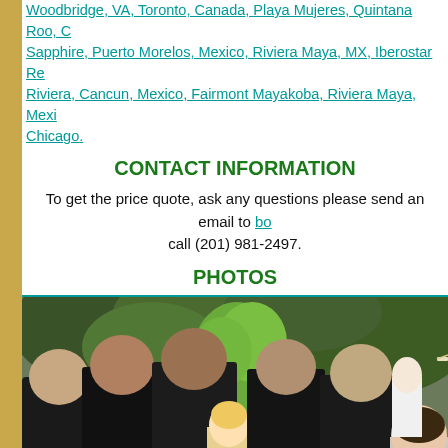Woodbridge, VA, Toronto, Canada, Playa Mujeres, Quintana Roo, C... Sapphire, Puerto Morelos, Mexico, Riviera Maya, MX, Iberostar Re... Riviera, Cancun, Mexico, Fairmont Mayakoba, Riviera Maya, Mexi... Chicago.
CONTACT INFORMATION
To get the price quote, ask any questions please send an email to bo... call (201) 981-2497.
PHOTOS
[Figure (photo): Outdoor wedding scene with guests in formal attire — men in black suits and women in light dresses, standing among green trees.]